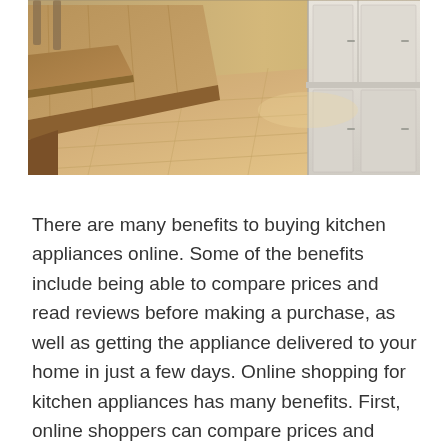[Figure (photo): Interior photo of a modern kitchen with wooden dining table and bench on the left, light wood plank flooring, and white kitchen cabinets on the right, viewed from a perspective angle.]
There are many benefits to buying kitchen appliances online. Some of the benefits include being able to compare prices and read reviews before making a purchase, as well as getting the appliance delivered to your home in just a few days. Online shopping for kitchen appliances has many benefits. First, online shoppers can compare prices and select the appliance that meets their needs. Second, online shoppers can order appliances with ease, and receive updates on their order’s status. Third, online shoppers can usually find lower prices than in traditional stores. Fourth, many appliances are available in a wide variety of styles and colors, making it easier to